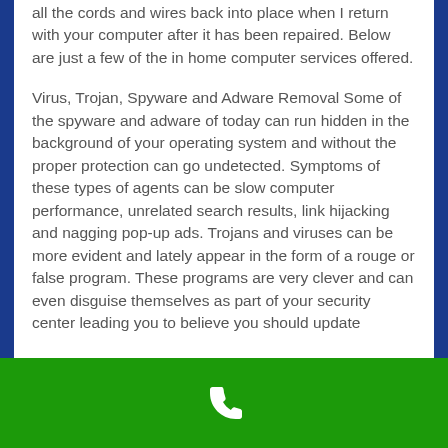all the cords and wires back into place when I return with your computer after it has been repaired. Below are just a few of the in home computer services offered.
Virus, Trojan, Spyware and Adware Removal Some of the spyware and adware of today can run hidden in the background of your operating system and without the proper protection can go undetected. Symptoms of these types of agents can be slow computer performance, unrelated search results, link hijacking and nagging pop-up ads. Trojans and viruses can be more evident and lately appear in the form of a rouge or false program. These programs are very clever and can even disguise themselves as part of your security center leading you to believe you should update
[Figure (other): Green footer bar with white phone icon]